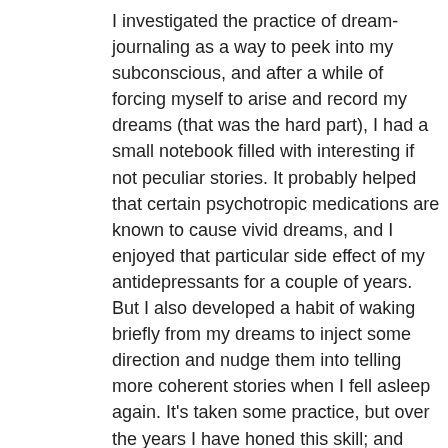I investigated the practice of dream-journaling as a way to peek into my subconscious, and after a while of forcing myself to arise and record my dreams (that was the hard part), I had a small notebook filled with interesting if not peculiar stories. It probably helped that certain psychotropic medications are known to cause vivid dreams, and I enjoyed that particular side effect of my antidepressants for a couple of years. But I also developed a habit of waking briefly from my dreams to inject some direction and nudge them into telling more coherent stories when I fell asleep again. It's taken some practice, but over the years I have honed this skill; and though I no longer keep a dream journal, I still have dreams that I can recall first thing in the morning and that sometimes set me to typing.
In fact, the best sex I ever had occurred in a